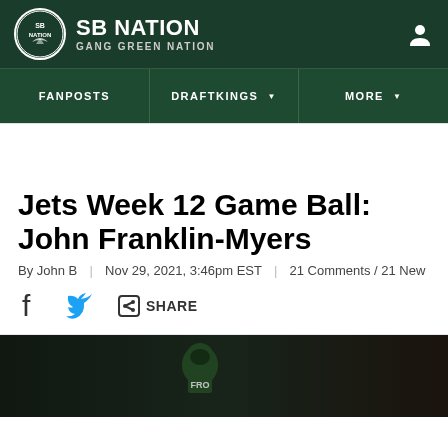SB NATION | GANG GREEN NATION
FANPOSTS | DRAFTKINGS | MORE
Jets Week 12 Game Ball: John Franklin-Myers
By John B | Nov 29, 2021, 3:46pm EST | 21 Comments / 21 New
SHARE
[Figure (photo): Photo of a Jets player (Franklin-Myers) in green helmet and jersey on the field]